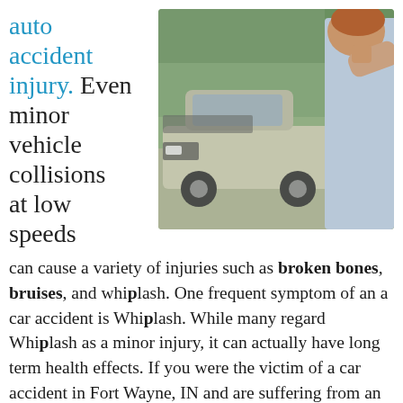auto accident injury. Even minor vehicle collisions at low speeds can cause a variety of injuries such as broken bones, bruises, and whiplash. One frequent symptom of an a car accident is Whiplash. While many regard Whiplash as a minor injury, it can actually have long term health effects. If you were the victim of a car accident in Fort Wayne, IN and are suffering from an auto accident injury, don't hesitate to contact Dr. Osenga an experienced chiropractor for help.
[Figure (photo): A man holding the back of his neck in pain, standing in front of a damaged car after an auto accident, outdoors with trees in the background.]